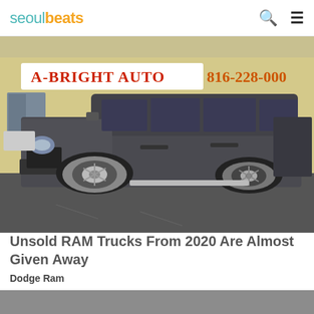seoulbeats
[Figure (photo): A gray Dodge RAM pickup truck parked in front of A-Bright Auto dealership. The building sign shows 'A-BRIGHT AUTO' in red letters and phone number 816-228-000. The truck is a crew cab model viewed from a front-side angle in a parking lot.]
Unsold RAM Trucks From 2020 Are Almost Given Away
Dodge Ram
[Figure (photo): Partial bottom strip showing the beginning of another article image.]